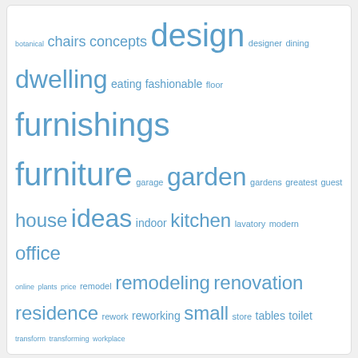[Figure (infographic): Tag cloud with home/design related keywords in varying sizes and shades of blue. Words include: botanical, chairs, concepts, design, designer, dining, dwelling, eating, fashionable, floor, furnishings, furniture, garage, garden, gardens, greatest, guest, house, ideas, indoor, kitchen, lavatory, modern, office, online, plants, price, remodel, remodeling, renovation, residence, rework, reworking, small, store, tables, toilet, transform, transforming, workplace]
| M | T | W | T | F | S | S |
| --- | --- | --- | --- | --- | --- | --- |
| 1 | 2 | 3 | 4 | 5 | 6 | 7 |
| 8 | 9 | 10 | 11 | 12 | 13 | 14 |
| 15 | 16 | 17 | 18 | 19 | 20 | 21 |
| 22 | 23 | 24 | 25 | 26 | 27 | 28 |
| 29 | 30 | 31 |  |  |  |  |